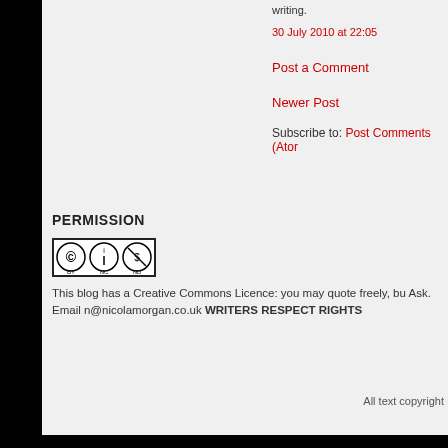writing.
30 July 2010 at 22:05
Post a Comment
Newer Post
Subscribe to: Post Comments (Atom)
PERMISSION
[Figure (logo): Creative Commons BY NC ND licence badge]
This blog has a Creative Commons Licence: you may quote freely, bu Ask. Email n@nicolamorgan.co.uk WRITERS RESPECT RIGHTS
All text copyright